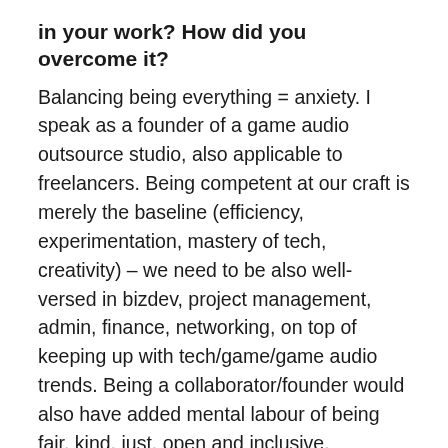in your work? How did you overcome it?
Balancing being everything = anxiety. I speak as a founder of a game audio outsource studio, also applicable to freelancers. Being competent at our craft is merely the baseline (efficiency, experimentation, mastery of tech, creativity) – we need to be also well-versed in bizdev, project management, admin, finance, networking, on top of keeping up with tech/game/game audio trends. Being a collaborator/founder would also have added mental labour of being fair, kind, just, open and inclusive.
At some point, the creator's guilt of not spending enough time practicing your craft because you have to do all these other ones gets tight this all like